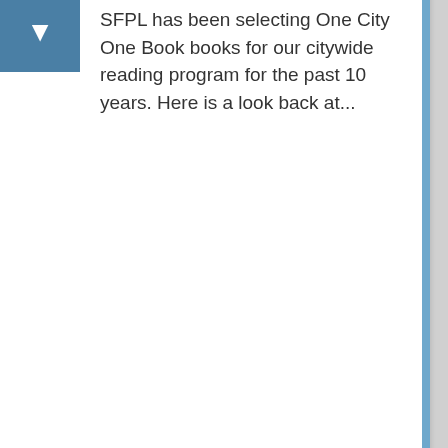SFPL has been selecting One City One Book books for our citywide reading program for the past 10 years. Here is a look back at...
GENERAL RECOMMENDATIONS
2015 SFPL On The Same Page / One City One Book
By: SFPL ReadersAdvisory
Created on: Jul 07, 2015
6 items
Join San Francisco's biggest book club. Here are our On The Same Page Picks for 2015!